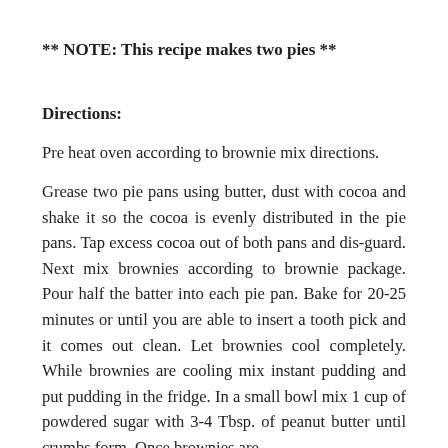** NOTE: This recipe makes two pies **
Directions:
Pre heat oven according to brownie mix directions.
Grease two pie pans using butter, dust with cocoa and shake it so the cocoa is evenly distributed in the pie pans. Tap excess cocoa out of both pans and dis-guard. Next mix brownies according to brownie package. Pour half the batter into each pie pan. Bake for 20-25 minutes or until you are able to insert a tooth pick and it comes out clean. Let brownies cool completely. While brownies are cooling mix instant pudding and put pudding in the fridge. In a small bowl mix 1 cup of powdered sugar with 3-4 Tbsp. of peanut butter until crumbs form. Once brownies are